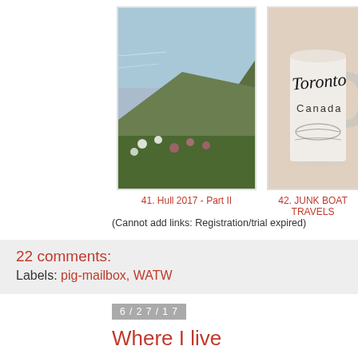[Figure (photo): Coastal cliffs with wildflowers and sea view, labeled '41. Hull 2017 - Part II']
[Figure (photo): Toronto Canada souvenir mug, labeled '42. JUNK BOAT TRAVELS']
[Figure (photo): Marina with boats at dusk, partially cropped, labeled '43. Westha...']
41. Hull 2017 - Part II
42. JUNK BOAT TRAVELS
43. Westha...
(Cannot add links: Registration/trial expired)
22 comments:
Labels: pig-mailbox, WATW
6/27/17
Where I live